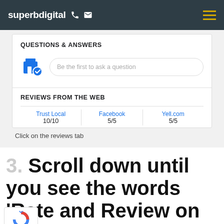superbdigital
QUESTIONS & ANSWERS
Be the first to ask a question
REVIEWS FROM THE WEB
| Trust Local | Facebook | Yell.com |
| --- | --- | --- |
| 10/10 | 5/5 | 5/5 |
Click on the reviews tab
Scroll down until you see the words 'Rate and Review on Google'